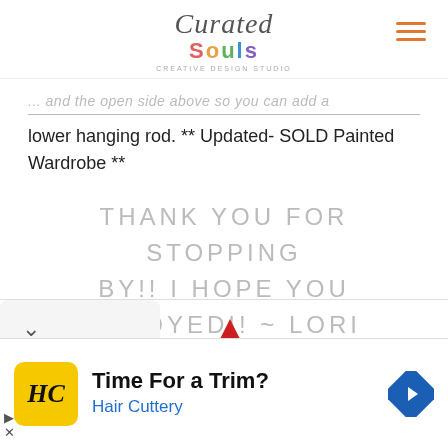Curated Souls
... and the open side above so you can add a lower hanging rod.  ** Updated- SOLD Painted Wardrobe **
THANK YOU FOR STOPPING BY!! I HOPE YOU ENJOYED!! ~ LORI
[Figure (logo): Red star/crown logo partially visible at bottom]
Time For a Trim?
Hair Cuttery